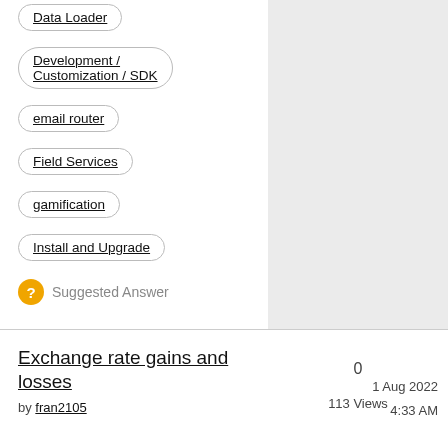Data Loader
Development / Customization / SDK
email router
Field Services
gamification
Install and Upgrade
Suggested Answer
Exchange rate gains and losses
by fran2105
0
113 Views
1 Aug 2022
4:33 AM